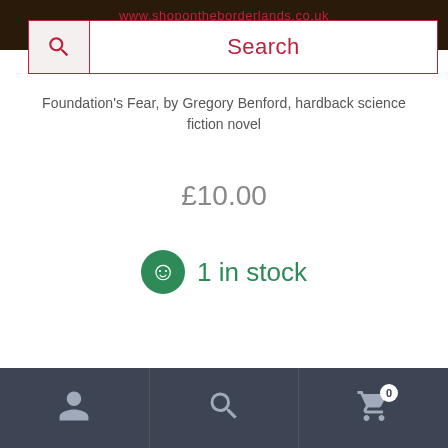[Figure (screenshot): Top image strip showing a dark book cover with www.shopontheborderlands.co.uk URL in red text]
[Figure (screenshot): Search bar overlay with magnifying glass icon on left and 'Search' placeholder text in crimson red]
Foundation's Fear, by Gregory Benford, hardback science fiction novel
£10.00
1 in stock
[Figure (screenshot): Bottom navigation bar with user/account icon, search icon, and shopping cart icon with badge showing 0]